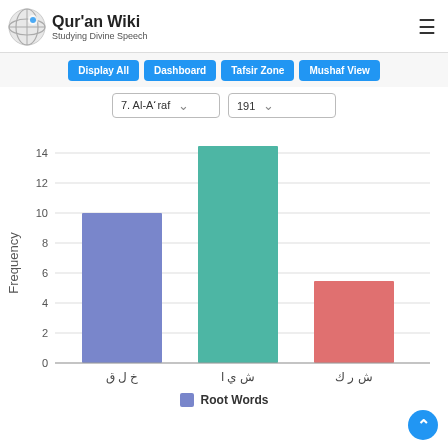Qur'an Wiki — Studying Divine Speech
[Figure (screenshot): Navigation buttons: Display All, Dashboard, Tafsir Zone, Mushaf View]
[Figure (screenshot): Dropdown selectors: 7. Al-A'raf and 191]
[Figure (bar-chart): Frequency of Root Words]
Root Words